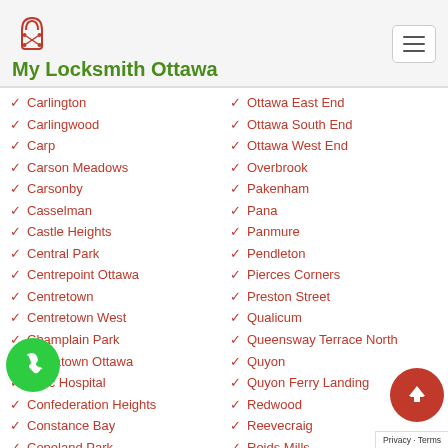My Locksmith Ottawa
Carlington
Carlingwood
Carp
Carson Meadows
Carsonby
Casselman
Castle Heights
Central Park
Centrepoint Ottawa
Centretown
Centretown West
Champlain Park
Chinatown Ottawa
Civic Hospital
Confederation Heights
Constance Bay
Copeland Park
Corkery
Ottawa East End
Ottawa South End
Ottawa West End
Overbrook
Pakenham
Pana
Panmure
Pendleton
Pierces Corners
Preston Street
Qualicum
Queensway Terrace North
Quyon
Quyon Ferry Landing
Redwood
Reevecraig
Reids Mills